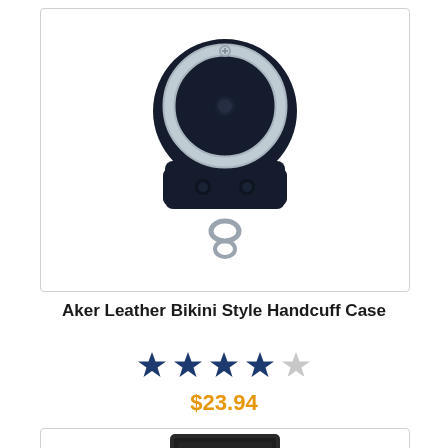[Figure (photo): Aker Leather Bikini Style Handcuff Case product photo — black leather case with silver handcuffs on white background]
Aker Leather Bikini Style Handcuff Case
[Figure (infographic): 4 out of 5 stars rating shown as navy blue filled stars with one empty/light star]
$23.94
[Figure (photo): Second product photo showing a dark leather case, partially visible at bottom of page]